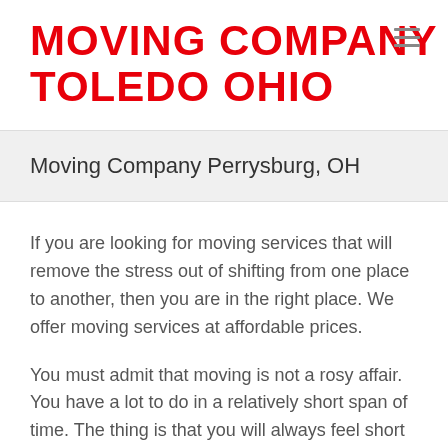Moving Company Toledo Ohio
Moving Company Perrysburg, OH
If you are looking for moving services that will remove the stress out of shifting from one place to another, then you are in the right place. We offer moving services at affordable prices.
You must admit that moving is not a rosy affair. You have a lot to do in a relatively short span of time. The thing is that you will always feel short of